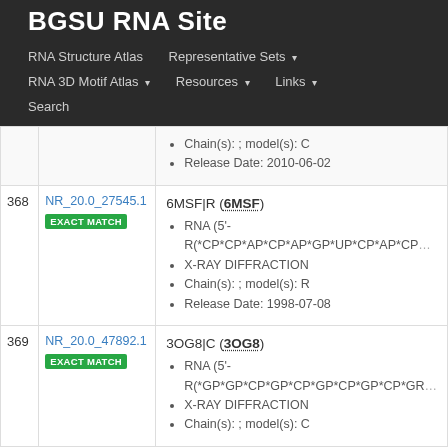BGSU RNA Site
RNA Structure Atlas | Representative Sets | RNA 3D Motif Atlas | Resources | Links | Search
| # | ID | Details |
| --- | --- | --- |
|  |  | Chain(s): ; model(s): C
Release Date: 2010-06-02 |
| 368 | NR_20.0_27545.1 EXACT MATCH | 6MSF|R (6MSF)
RNA (5'-R(*CP*CP*AP*CP*AP*GP*UP*CP*AP*CP...
X-RAY DIFFRACTION
Chain(s): ; model(s): R
Release Date: 1998-07-08 |
| 369 | NR_20.0_47892.1 EXACT MATCH | 3OG8|C (3OG8)
RNA (5'-R(*GP*GP*CP*GP*CP*GP*CP*GP*CP*GR...
X-RAY DIFFRACTION
Chain(s): ; model(s): C |